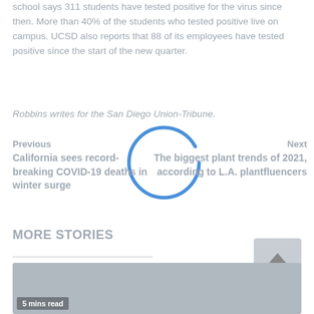school says 311 students have tested positive for the virus since then. More than 40% of the students who tested positive live on campus. UCSD also reports that 88 of its employees have tested positive since the start of the new quarter.
Robbins writes for the San Diego Union-Tribune.
Previous
California sees record-breaking COVID-19 deaths in winter surge
Next
The biggest plant trends of 2021, according to L.A. plantfluencers
[Figure (other): Loading spinner circle outline in blue]
MORE STORIES
[Figure (photo): Partial image card thumbnail with '5 mins read' label at bottom left]